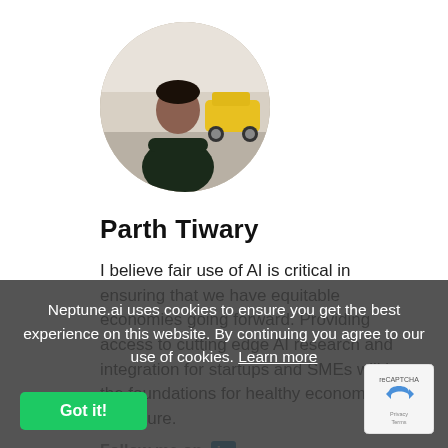[Figure (photo): Circular profile photo of Parth Tiwary, a man standing with arms crossed in a large indoor space with a yellow car in the background.]
Parth Tiwary
I believe fair use of AI is critical in ensuring that we have equitable economies going forward. Providing access to cutting edge AI research and integration for startups and SMEs will lay the foundations for healthy economies of the future.
Follow me on in
Neptune.ai uses cookies to ensure you get the best experience on this website. By continuing you agree to our use of cookies. Learn more
Got it!